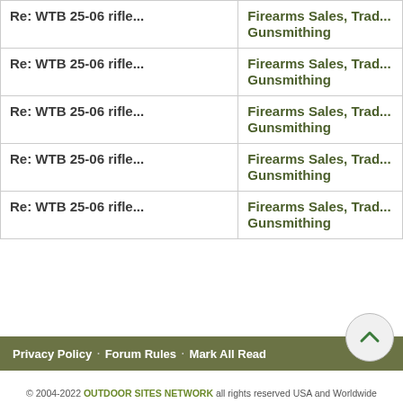| Topic | Forum |
| --- | --- |
| Re: WTB 25-06 rifle... | Firearms Sales, Trad... Gunsmithing |
| Re: WTB 25-06 rifle... | Firearms Sales, Trad... Gunsmithing |
| Re: WTB 25-06 rifle... | Firearms Sales, Trad... Gunsmithing |
| Re: WTB 25-06 rifle... | Firearms Sales, Trad... Gunsmithing |
| Re: WTB 25-06 rifle... | Firearms Sales, Trad... Gunsmithing |
Privacy Policy · Forum Rules · Mark All Read
© 2004-2022 OUTDOOR SITES NETWORK all rights reserved USA and Worldwide